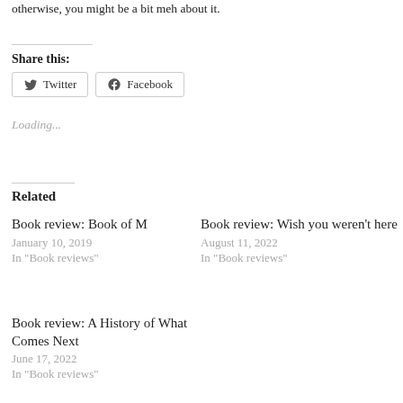otherwise, you might be a bit meh about it.
Share this:
Twitter   Facebook
Loading...
Related
Book review: Book of M
January 10, 2019
In "Book reviews"
Book review: Wish you weren't here
August 11, 2022
In "Book reviews"
Book review: A History of What Comes Next
June 17, 2022
In "Book reviews"